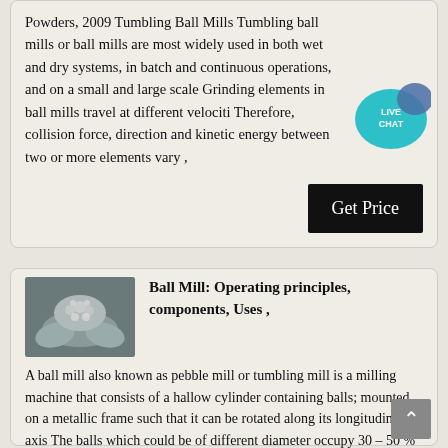Powders, 2009 Tumbling Ball Mills Tumbling ball mills or ball mills are most widely used in both wet and dry systems, in batch and continuous operations, and on a small and large scale Grinding elements in ball mills travel at different velociti Therefore, collision force, direction and kinetic energy between two or more elements vary ,
[Figure (other): Live Chat button — a teal speech bubble icon with 'LIVE CHAT' text]
[Figure (other): Get Price button — black rectangle with white text]
[Figure (photo): Thumbnail photo of hands holding metallic powder or small balls]
Ball Mill: Operating principles, components, Uses ,
A ball mill also known as pebble mill or tumbling mill is a milling machine that consists of a hallow cylinder containing balls; mounted on a metallic frame such that it can be rotated along its longitudinal axis The balls which could be of different diameter occupy 30 – 50 % of the mill volume and